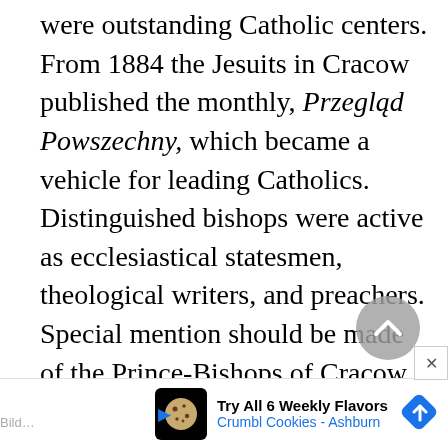were outstanding Catholic centers. From 1884 the Jesuits in Cracow published the monthly, Przegląd Powszechny, which became a vehicle for leading Catholics. Distinguished bishops were active as ecclesiastical statesmen, theological writers, and preachers. Special mention should be made of the Prince-Bishops of Cracow, Albin Dunajewski (1879–94) and Jan Kozielko Puzyna (1895–191…, cardinal from 1901). Abp. Józef
[Figure (other): Advertisement banner: Crumbl Cookies - Ashburn, 'Try All 6 Weekly Flavors' with cookie icon and navigation arrow]